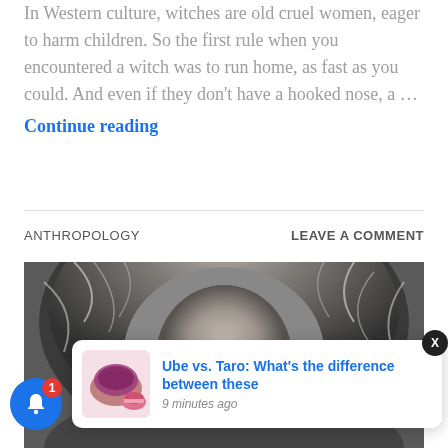In Western culture, witches are old cruel women, eager to harm children. So the first rule when you encountered a witch was to run home, as fast as you could. And even if they don't have a hooked nose, a …
Continue reading
ANTHROPOLOGY
LEAVE A COMMENT
[Figure (photo): Black and white close-up photograph of a person wearing a large fur-trimmed hood, looking directly at the camera.]
Ube vs. Taro: What's the difference between these
9 minutes ago